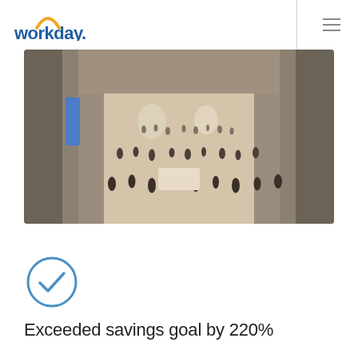[Figure (logo): Workday logo with orange arc above blue text 'workday.']
[Figure (photo): Aerial view of a grand museum or mall hall crowded with people, with tall columns on sides, holiday decorations visible]
[Figure (infographic): Blue circle with a checkmark inside, indicating goal achieved]
Exceeded savings goal by 220%